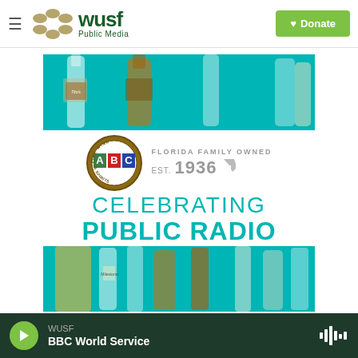[Figure (logo): WUSF Public Media logo with olive/gold dots and dark green text, Donate button in green]
[Figure (photo): Liquor bottles including Tito's vodka and The Macallan whisky arranged on teal background]
[Figure (logo): ABC Fine Wine & Spirits logo with circular badge, 'Florida Family Owned Est. 1936' text, and 'Celebrating Public Radio' promotional text in teal]
[Figure (photo): More liquor bottles including Milestone wine and other spirits on teal background]
Become a
WUSF BBC World Service